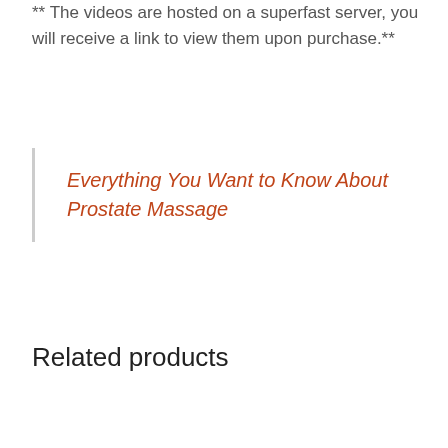** The videos are hosted on a superfast server, you will receive a link to view them upon purchase.**
Everything You Want to Know About Prostate Massage
Related products